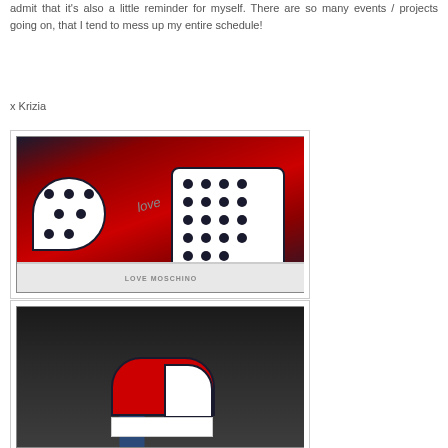admit that it's also a little reminder for myself. There are so many events / projects going on, that I tend to mess up my entire schedule!
x Krizia
[Figure (photo): Close-up photo of a Love Moschino red sneaker with white polka dot panels and navy blue trim. The sole reads 'LOVE MOSCHINO'.]
[Figure (photo): Photo looking down at feet wearing Love Moschino red and white sneakers, with jeans visible, taken on a dark surface.]